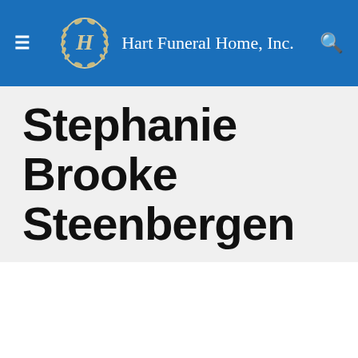Hart Funeral Home, Inc.
Stephanie Brooke Steenbergen
[Figure (screenshot): Screenshot of a Facebook page showing a woman with curly reddish-brown hair. Phone status bar shows AT&T LTE, 12:50 PM, facebook.com.]